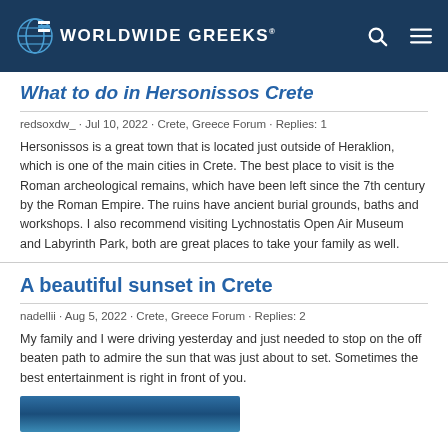Worldwide Greeks
What to do in Hersonissos Crete
redsoxdw_ · Jul 10, 2022 · Crete, Greece Forum · Replies: 1
Hersonissos is a great town that is located just outside of Heraklion, which is one of the main cities in Crete. The best place to visit is the Roman archeological remains, which have been left since the 7th century by the Roman Empire. The ruins have ancient burial grounds, baths and workshops. I also recommend visiting Lychnostatis Open Air Museum and Labyrinth Park, both are great places to take your family as well.
A beautiful sunset in Crete
nadellii · Aug 5, 2022 · Crete, Greece Forum · Replies: 2
My family and I were driving yesterday and just needed to stop on the off beaten path to admire the sun that was just about to set. Sometimes the best entertainment is right in front of you.
[Figure (photo): Partial view of a sunset photo in Crete, showing blue sky and sea tones]